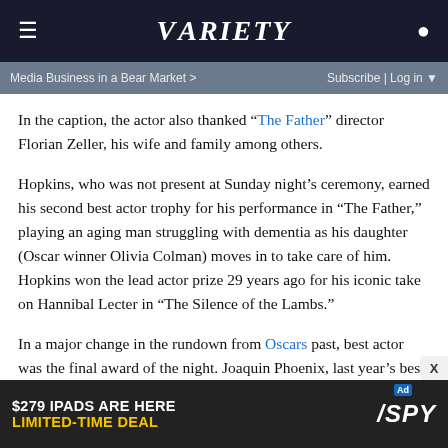VARIETY
Media Business in a Bear Market >   Subscribe | Log in
In the caption, the actor also thanked “The Father” director Florian Zeller, his wife and family among others.
Hopkins, who was not present at Sunday night’s ceremony, earned his second best actor trophy for his performance in “The Father,” playing an aging man struggling with dementia as his daughter (Oscar winner Olivia Colman) moves in to take care of him. Hopkins won the lead actor prize 29 years ago for his iconic take on Hannibal Lecter in “The Silence of the Lambs.”
In a major change in the rundown from Oscars past, best actor was the final award of the night. Joaquin Phoenix, last year’s best actor winner for “Joker,” presented the category and accepted the award on Hopkins’ behalf. Then the broadcast
[Figure (other): Advertisement banner: $279 IPADS ARE HERE LIMITED-TIME DEAL SPY]